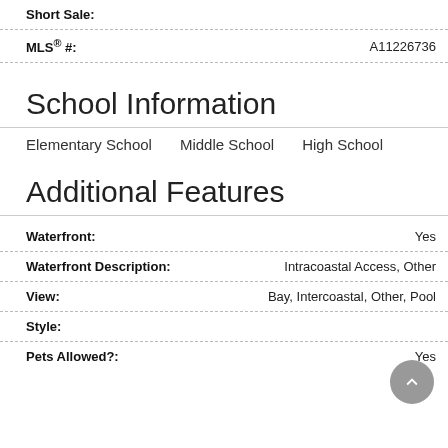Short Sale:
MLS® #: A11226736
School Information
Elementary School   Middle School   High School
Additional Features
Waterfront: Yes
Waterfront Description: Intracoastal Access, Other
View: Bay, Intercoastal, Other, Pool
Style:
Pets Allowed?: Yes